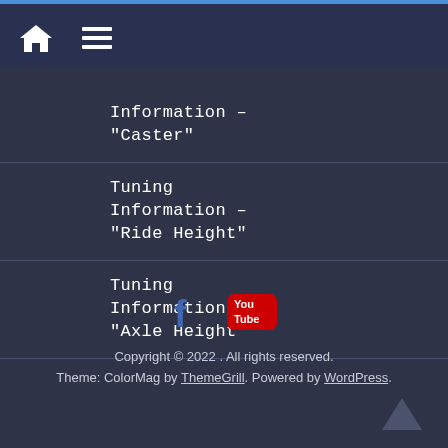Navigation bar with home icon and menu icon
Information – "Caster"
Tuning Information – "Ride Height"
Tuning Information – "Axle Height"
[Figure (logo): Social media icons: Facebook (blue f) and YouTube (red YouTube logo)]
Copyright © 2022 . All rights reserved. Theme: ColorMag by ThemeGrill. Powered by WordPress.